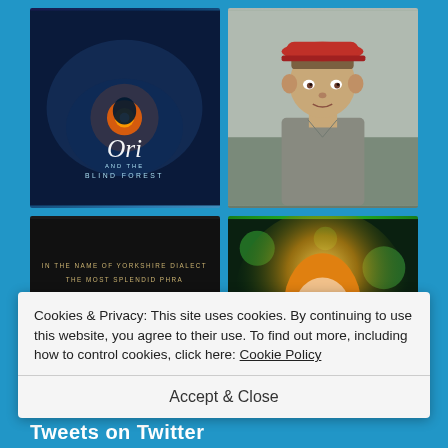[Figure (illustration): Ori and the Blind Forest game cover art showing a glowing creature on a dark forest background with stylized title text]
[Figure (photo): Photo of a man wearing a red cap and grey shirt, resembling Forrest Gump movie promotional image]
[Figure (illustration): Dark book/movie cover with gold text reading 'CE BA GUM' and smaller text 'IN THE NAME OF YORKSHIRE DIALECT THE MOST SPLENDID PHRASE' and 'EY UP!']
[Figure (illustration): Barbie doll illustration with glowing golden and green bokeh background, wearing a colorful outfit]
Cookies & Privacy: This site uses cookies. By continuing to use this website, you agree to their use. To find out more, including how to control cookies, click here: Cookie Policy
Accept & Close
Tweets on Twitter